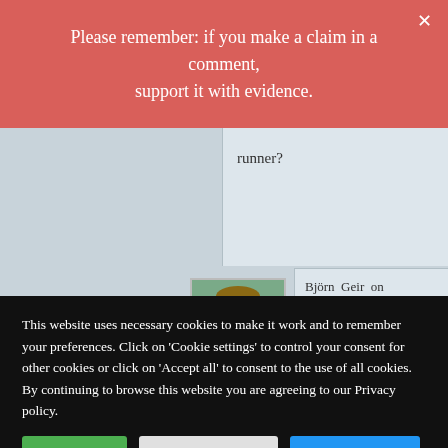Please remember: if you make a claim in a comment, support it with evidence.
runner?
Björn Geir on Saturday 28 September 2013 at 23:49
There are plenty of studies who show effects over placebo
This website uses necessary cookies to make it work and to remember your preferences. Click on 'Cookie settings' to control your consent for other cookies or click on 'Accept all' to consent to the use of all cookies. By continuing to browse this website you are agreeing to our Privacy policy.
Accept all
Cookie settings
Privacy policy